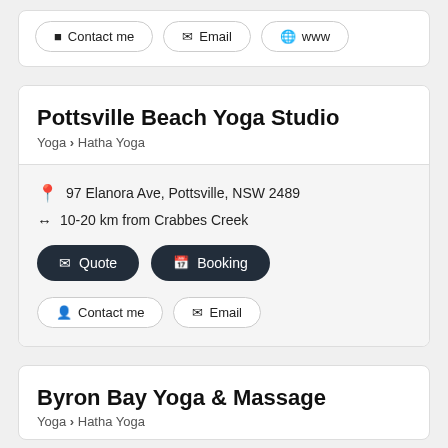Contact me | Email | www
Pottsville Beach Yoga Studio
Yoga › Hatha Yoga
97 Elanora Ave, Pottsville, NSW 2489
10-20 km from Crabbes Creek
Quote | Booking
Contact me | Email
Byron Bay Yoga & Massage
Yoga › Hatha Yoga